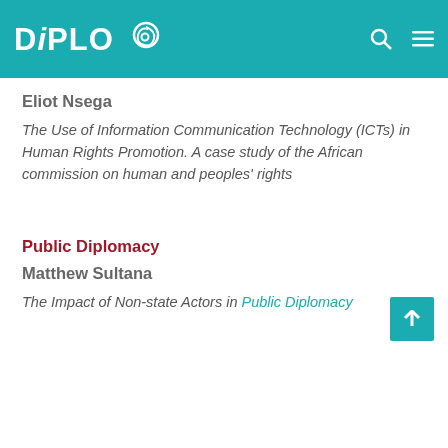DIPLO
Eliot Nsega
The Use of Information Communication Technology (ICTs) in Human Rights Promotion. A case study of the African commission on human and peoples' rights
Public Diplomacy
Matthew Sultana
The Impact of Non-state Actors in Public Diplomacy